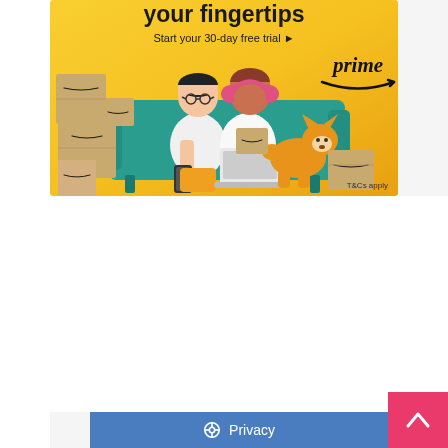[Figure (infographic): Amazon Prime advertisement banner with yellow background. Shows two people (man with glasses and woman with pink headphones) sitting on a teal sofa with Amazon boxes and a corgi dog. Text reads 'your fingertips', 'Start your 30-day free trial ▶', 'prime' with Amazon smile logo, and 'T&Cs apply' in bottom right.]
[Figure (other): Pink scroll-to-top button with white upward chevron arrow in bottom right corner]
[Figure (other): Blue Privacy button with gear/settings icon and 'Privacy' text in bottom area]